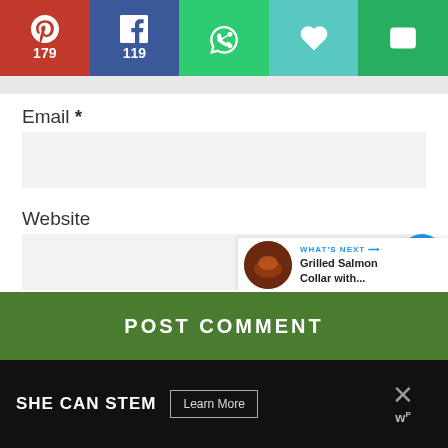[Figure (infographic): Social share bar with Pinterest (179), Facebook (119), WhatsApp, heart/like, and email buttons]
Email *
[Figure (screenshot): Email input field (empty, gray background)]
Website
[Figure (screenshot): Website input field (empty, gray background)]
[Figure (infographic): Floating heart/like button showing 313, and share button]
[Figure (infographic): POST COMMENT green button]
[Figure (infographic): What's Next panel: Grilled Salmon Collar with...]
[Figure (infographic): SHE CAN STEM advertisement banner with Learn More button and close X]